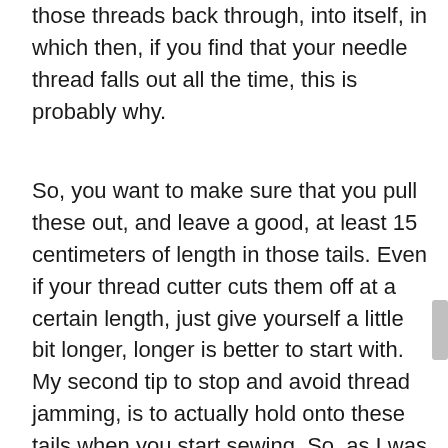those threads back through, into itself, in which then, if you find that your needle thread falls out all the time, this is probably why.
So, you want to make sure that you pull these out, and leave a good, at least 15 centimeters of length in those tails. Even if your thread cutter cuts them off at a certain length, just give yourself a little bit longer, longer is better to start with. My second tip to stop and avoid thread jamming, is to actually hold onto these tails when you start sewing. So, as I was mentioning, those threads are drawn back into itself as you begin to sew, if you put a little pressure on these and hold them, it will stop them from tangling up as you begin to sew As you start sewing, getting in the habit of just putting your